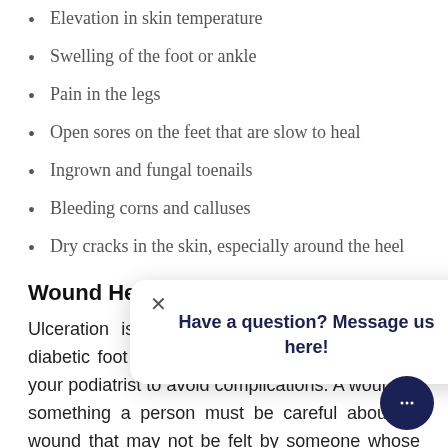Elevation in skin temperature
Swelling of the foot or ankle
Pain in the legs
Open sores on the feet that are slow to heal
Ingrown and fungal toenails
Bleeding corns and calluses
Dry cracks in the skin, especially around the heel
Wound Healing
Ulceration is a common occurrence with the diabetic foot and should be treated promptly by your podiatrist to avoid complications. A wound is something a person must be careful about—a wound that may not be felt by someone whose skin sensation is diminished. Left unattended, such ulcers quickly become infected and lead to more serious consequences. Your podiatric physician knows how to treat